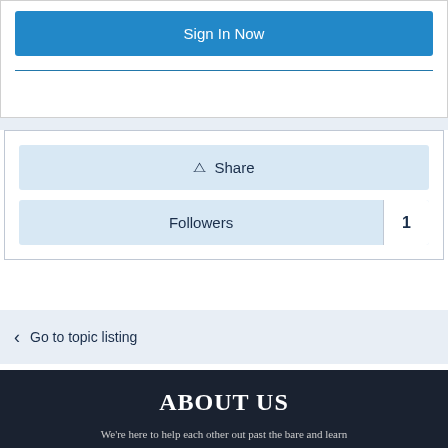Sign In Now
Share
Followers  1
Go to topic listing
ABOUT US
We're here to help each other out past the bare and learn